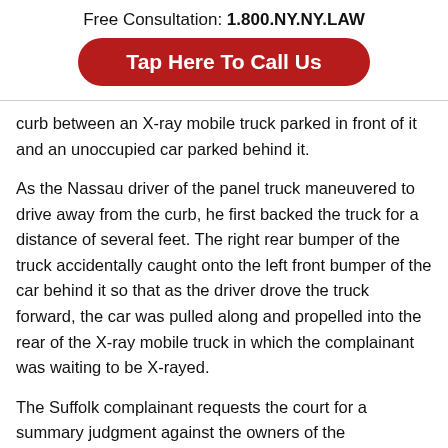Free Consultation: 1.800.NY.NY.LAW
Tap Here To Call Us
curb between an X-ray mobile truck parked in front of it and an unoccupied car parked behind it.
As the Nassau driver of the panel truck maneuvered to drive away from the curb, he first backed the truck for a distance of several feet. The right rear bumper of the truck accidentally caught onto the left front bumper of the car behind it so that as the driver drove the truck forward, the car was pulled along and propelled into the rear of the X-ray mobile truck in which the complainant was waiting to be X-rayed.
The Suffolk complainant requests the court for a summary judgment against the owners of the